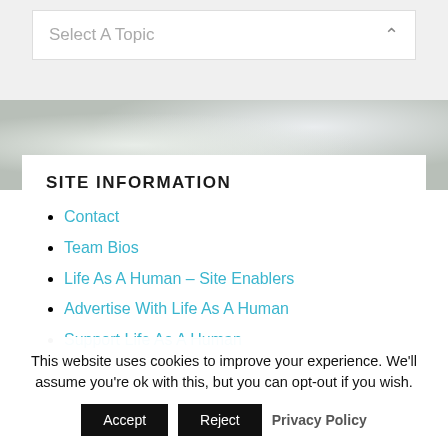[Figure (screenshot): A dropdown/select input box with placeholder text 'Select A Topic' and a chevron icon on the right, on a light grey background.]
[Figure (photo): Background photo of white floral blossoms with a grey/muted tone.]
SITE INFORMATION
Contact
Team Bios
Life As A Human – Site Enablers
Advertise With Life As A Human
Support Life As A Human
This website uses cookies to improve your experience. We'll assume you're ok with this, but you can opt-out if you wish.
Accept  Reject  Privacy Policy